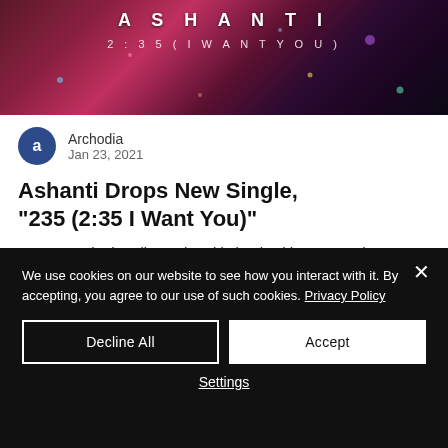[Figure (photo): Music album art for Ashanti '2:35 (I Want You)' showing stylized text on dark background with colorful bokeh lights]
Archodia
Jan 23, 2021
Ashanti Drops New Single, "235 (2:35 I Want You)"
Grammy-winning diva Ashanti is back with new music "235 (2:35 I Want...
We use cookies on our website to see how you interact with it. By accepting, you agree to our use of such cookies. Privacy Policy
Decline All
Accept
Settings